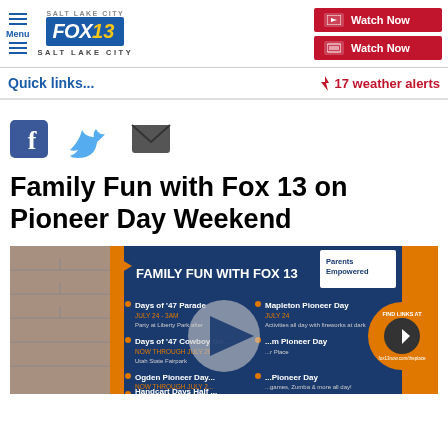[Figure (logo): FOX 13 Salt Lake City logo with menu icon and two Watch Now buttons]
Quick links...
⚡ 17 weather alerts
[Figure (infographic): Social sharing icons: Facebook, Twitter, Email]
Family Fun with Fox 13 on Pioneer Day Weekend
[Figure (screenshot): Video thumbnail showing Family Fun with Fox 13 infographic listing Pioneer Day Weekend events including Days of '47 Parade, Days of '47 Cowboy Games, Ogden Pioneer Day, Handcart Days, Mapleton Pioneer Day, and more. Parents Empowered logo visible. Play button overlay present.]